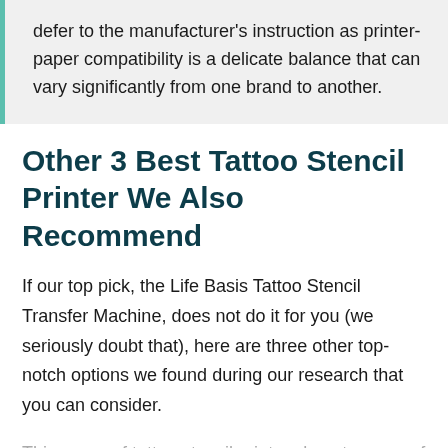defer to the manufacturer's instruction as printer-paper compatibility is a delicate balance that can vary significantly from one brand to another.
Other 3 Best Tattoo Stencil Printer We Also Recommend
If our top pick, the Life Basis Tattoo Stencil Transfer Machine, does not do it for you (we seriously doubt that), here are three other top-notch options we found during our research that you can consider.
This group of tattoo stencil printers boasts some of the best functionality, quality, durability, and price